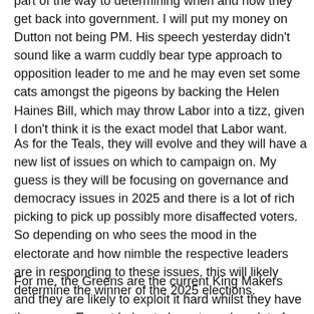part of the way to determining when and how they get back into government. I will put my money on Dutton not being PM. His speech yesterday didn't sound like a warm cuddly bear type approach to opposition leader to me and he may even set some cats amongst the pigeons by backing the Helen Haines Bill, which may throw Labor into a tizz, given I don't think it is the exact model that Labor want.
As for the Teals, they will evolve and they will have a new list of issues on which to campaign on. My guess is they will be focusing on governance and democracy issues in 2025 and there is a lot of rich picking to pick up possibly more disaffected voters. So depending on who sees the mood in the electorate and how nimble the respective leaders are in responding to these issues, this will likely determine the winner of the 2025 elections.
For me, the Greens are the current King Makers and they are likely to exploit it hard whilst they have the power. Expect Labor to have to make a lot of smaller